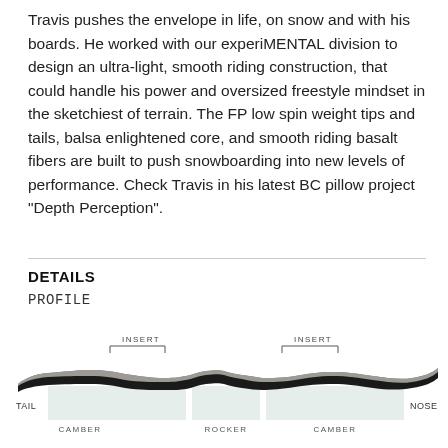Travis pushes the envelope in life, on snow and with his boards. He worked with our experiMENTAL division to design an ultra-light, smooth riding construction, that could handle his power and oversized freestyle mindset in the sketchiest of terrain. The FP low spin weight tips and tails, balsa enlightened core, and smooth riding basalt fibers are built to push snowboarding into new levels of performance. Check Travis in his latest BC pillow project “Depth Perception”.
DETAILS
PROFILE
[Figure (schematic): Snowboard profile diagram showing the cross-section shape from TAIL to NOSE with INSERT brackets marked over the bindings areas, and shaded regions labeled CAMBER, ROCKER, CAMBER beneath the board outline.]